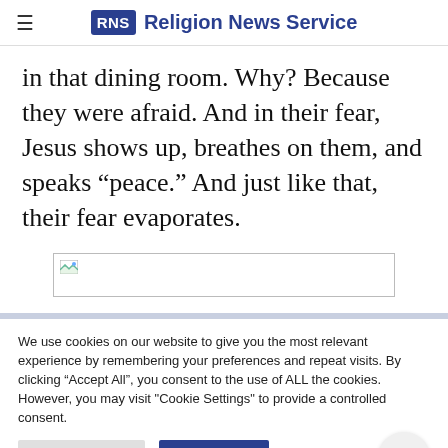RNS Religion News Service
in that dining room. Why? Because they were afraid. And in their fear, Jesus shows up, breathes on them, and speaks “peace.” And just like that, their fear evaporates.
[Figure (photo): Image placeholder with broken image icon]
We use cookies on our website to give you the most relevant experience by remembering your preferences and repeat visits. By clicking “Accept All”, you consent to the use of ALL the cookies. However, you may visit "Cookie Settings" to provide a controlled consent.